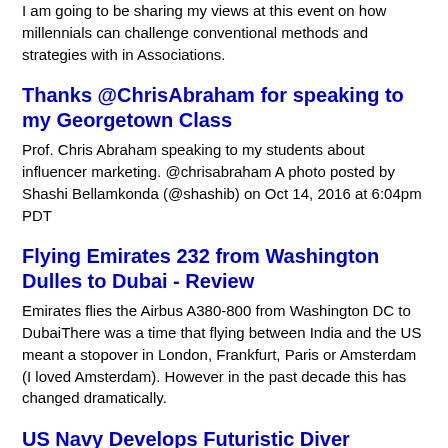I am going to be sharing my views at this event on how millennials can challenge conventional methods and strategies with in Associations.
Thanks @ChrisAbraham for speaking to my Georgetown Class
Prof. Chris Abraham speaking to my students about influencer marketing. @chrisabraham A photo posted by Shashi Bellamkonda (@shashib) on Oct 14, 2016 at 6:04pm PDT
Flying Emirates 232 from Washington Dulles to Dubai - Review
Emirates flies the Airbus A380-800 from Washington DC to DubaiThere was a time that flying between India and the US meant a stopover in London, Frankfurt, Paris or Amsterdam (I loved Amsterdam). However in the past decade this has changed dramatically.
US Navy Develops Futuristic Diver Augmented Vision Display (DAVD) Technology
VR(Virtual Reality) AR (Augmented Reality) and a mixture of technologies are going to hit the consumer market soon with Facebook's Oculus Rift, Microsoft's Hololens and Google's Magic Leap. The US Navy has released Futuristic Diver Augmented Vision Display (DAVD) Technology that  provides navy di